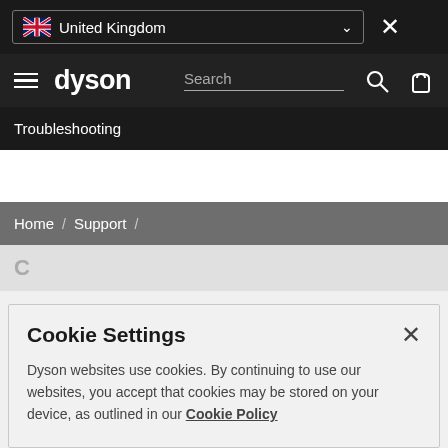United Kingdom
dyson  Search
Troubleshooting
Home / Support /
Cookie Settings
Dyson websites use cookies. By continuing to use our websites, you accept that cookies may be stored on your device, as outlined in our Cookie Policy